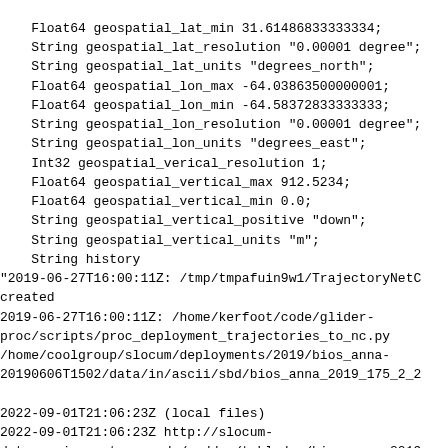Float64 geospatial_lat_min 31.61486833333334;
    String geospatial_lat_resolution "0.00001 degree";
    String geospatial_lat_units "degrees_north";
    Float64 geospatial_lon_max -64.03863500000001;
    Float64 geospatial_lon_min -64.58372833333333;
    String geospatial_lon_resolution "0.00001 degree";
    String geospatial_lon_units "degrees_east";
    Int32 geospatial_verical_resolution 1;
    Float64 geospatial_vertical_max 912.5234;
    Float64 geospatial_vertical_min 0.0;
    String geospatial_vertical_positive "down";
    String geospatial_vertical_units "m";
    String history
"2019-06-27T16:00:11Z: /tmp/tmpafuin9w1/TrajectoryNetC
created
2019-06-27T16:00:11Z: /home/kerfoot/code/glider-
proc/scripts/proc_deployment_trajectories_to_nc.py
/home/coolgroup/slocum/deployments/2019/bios_anna-
20190606T1502/data/in/ascii/sbd/bios_anna_2019_175_2_2

2022-09-01T21:06:23Z (local files)
2022-09-01T21:06:23Z http://slocum-
data.marine.rutgers.edu/erddap/tabledap/bios_anna-2019
raw-rt.html";
    String id "bios_anna-20190606T1502";
    String infoUrl "https://rucool.marine.rutgers.edu"